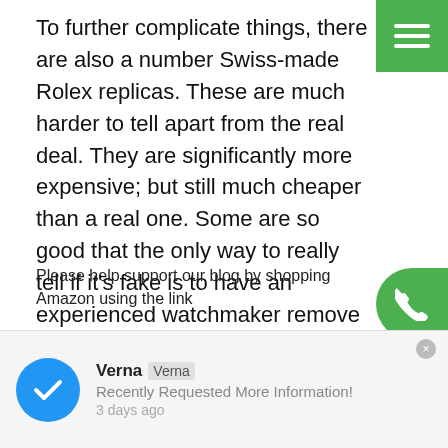To further complicate things, there are also a number Swiss-made Rolex replicas. These are much harder to tell apart from the real deal. They are significantly more expensive; but still much cheaper than a real one. Some are so good that the only way to really tell if it’s fake is to have an experienced watchmaker remove the back and inspect the movement. I can assume there have been many instances where an individual paid over $1,000 for a “Rolex” only to find out later that it was just a very well-made knock-off. Ouch!
Please help support our blog by shopping Amazon using the link
Verna
Recently Requested More Information!
3 days ago